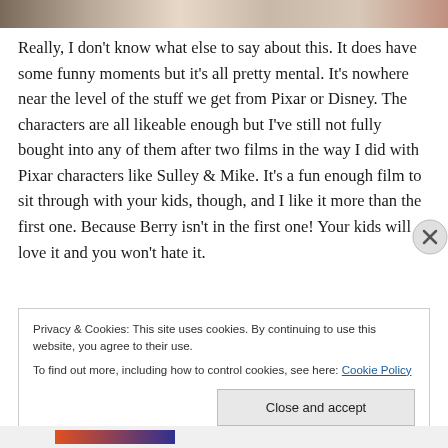[Figure (photo): Partial image at top of page showing cropped figures]
Really, I don't know what else to say about this. It does have some funny moments but it's all pretty mental. It's nowhere near the level of the stuff we get from Pixar or Disney. The characters are all likeable enough but I've still not fully bought into any of them after two films in the way I did with Pixar characters like Sulley & Mike. It's a fun enough film to sit through with your kids, though, and I like it more than the first one. Because Berry isn't in the first one! Your kids will love it and you won't hate it.
Privacy & Cookies: This site uses cookies. By continuing to use this website, you agree to their use.
To find out more, including how to control cookies, see here: Cookie Policy